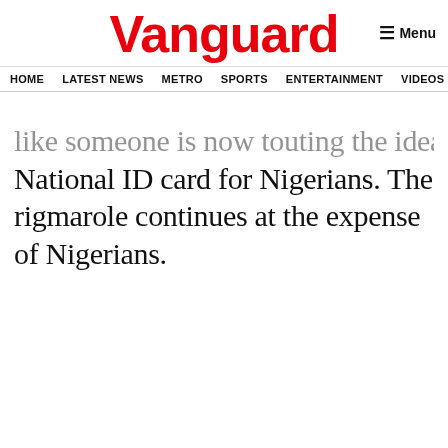Vanguard
HOME  LATEST NEWS  METRO  SPORTS  ENTERTAINMENT  VIDEOS
like someone is now touting the idea of new National ID card for Nigerians. The rigmarole continues at the expense of Nigerians.